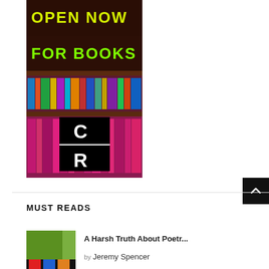[Figure (illustration): Bookshelf image with text OPEN NOW FOR BOOKS overlaid in yellow/green neon letters, with a black and white CR logo block in the lower center]
MUST READS
[Figure (illustration): Thumbnail image of a book cover with green and black design]
A Harsh Truth About Poetr...
by Jeremy Spencer